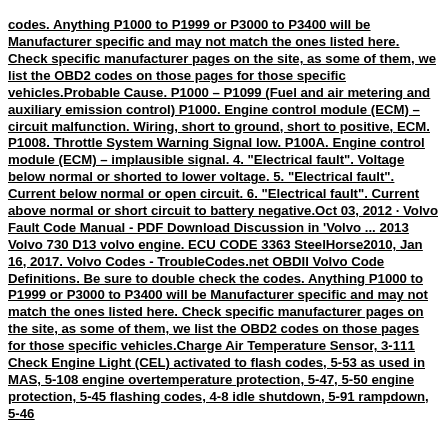codes. Anything P1000 to P1999 or P3000 to P3400 will be Manufacturer specific and may not match the ones listed here. Check specific manufacturer pages on the site, as some of them, we list the OBD2 codes on those pages for those specific vehicles.Probable Cause. P1000 – P1099 (Fuel and air metering and auxiliary emission control) P1000. Engine control module (ECM) – circuit malfunction. Wiring, short to ground, short to positive, ECM. P1008. Throttle System Warning Signal low. P100A. Engine control module (ECM) – implausible signal. 4. "Electrical fault". Voltage below normal or shorted to lower voltage. 5. "Electrical fault". Current below normal or open circuit. 6. "Electrical fault". Current above normal or short circuit to battery negative.Oct 03, 2012 · Volvo Fault Code Manual - PDF Download Discussion in 'Volvo ... 2013 Volvo 730 D13 volvo engine. ECU CODE 3363 SteelHorse2010, Jan 16, 2017. Volvo Codes - TroubleCodes.net OBDII Volvo Code Definitions. Be sure to double check the codes. Anything P1000 to P1999 or P3000 to P3400 will be Manufacturer specific and may not match the ones listed here. Check specific manufacturer pages on the site, as some of them, we list the OBD2 codes on those pages for those specific vehicles.Charge Air Temperature Sensor, 3-111 Check Engine Light (CEL) activated to flash codes, 5-53 as used in MAS, 5-108 engine overtemperature protection, 5-47, 5-50 engine protection, 5-45 flashing codes, 4-8 idle shutdown, 5-91 rampdown, 5-46